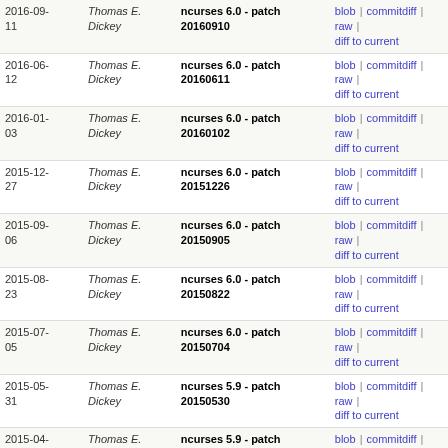| Date | Author | Message | Links |
| --- | --- | --- | --- |
| 2016-09-11 | Thomas E. Dickey | ncurses 6.0 - patch 20160910 | blob | commitdiff | raw | diff to current |
| 2016-06-12 | Thomas E. Dickey | ncurses 6.0 - patch 20160611 | blob | commitdiff | raw | diff to current |
| 2016-01-03 | Thomas E. Dickey | ncurses 6.0 - patch 20160102 | blob | commitdiff | raw | diff to current |
| 2015-12-27 | Thomas E. Dickey | ncurses 6.0 - patch 20151226 | blob | commitdiff | raw | diff to current |
| 2015-09-06 | Thomas E. Dickey | ncurses 6.0 - patch 20150905 | blob | commitdiff | raw | diff to current |
| 2015-08-23 | Thomas E. Dickey | ncurses 6.0 - patch 20150822 | blob | commitdiff | raw | diff to current |
| 2015-07-05 | Thomas E. Dickey | ncurses 6.0 - patch 20150704 | blob | commitdiff | raw | diff to current |
| 2015-05-31 | Thomas E. Dickey | ncurses 5.9 - patch 20150530 | blob | commitdiff | raw | diff to current |
| 2015-04-04 | Thomas E. Dickey | ncurses 5.9 - patch 20150404 | blob | commitdiff | raw | diff to current |
| 2014-10-19 | Thomas E. Dickey | ncurses 5.9 - patch 20141018 | blob | commitdiff | raw | diff to current |
| 2014-06-15 | Thomas E. Dickey | ncurses 5.9 - patch 20140614 | blob | commitdiff | raw | diff to current |
| 2014-05-25 | Thomas E. Dickey | ncurses 5.9 - patch 20140524 | blob | commitdiff | raw | diff to current |
| 2014-03-30 | Thomas E. Dickey | ncurses 5.9 - patch 20140329 | blob | commitdiff | raw | diff to current |